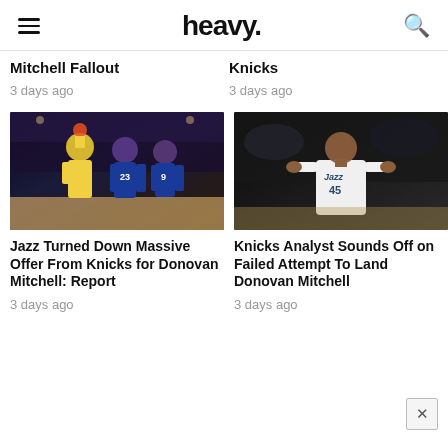heavy.
Mitchell Fallout
2 days ago
Knicks
3 days ago
[Figure (photo): Lakers player in yellow jersey shooting over Knicks players #23 and #9 in blue uniforms]
Jazz Turned Down Massive Offer From Knicks for Donovan Mitchell: Report
3 days ago
[Figure (photo): Donovan Mitchell in Utah Jazz #45 white uniform standing on court]
Knicks Analyst Sounds Off on Failed Attempt To Land Donovan Mitchell
3 days ago